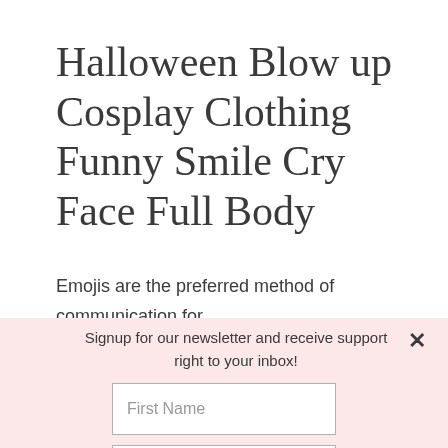Halloween Blow up Cosplay Clothing Funny Smile Cry Face Full Body
Emojis are the preferred method of communication for teens, so why not be one on Halloween? 100%
Signup for our newsletter and receive support right to your inbox!
First Name
Email
SIGN ME UP